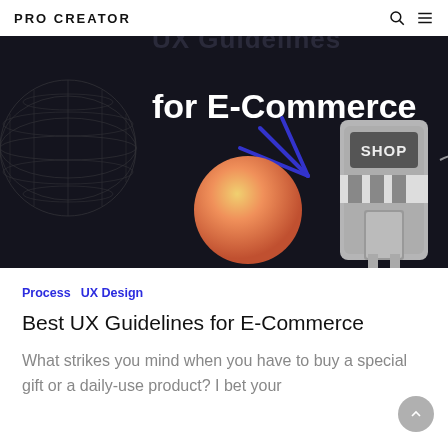PRO CREATOR
[Figure (illustration): Dark-themed hero banner with text 'for E-Commerce' in bold white, a glowing orange-peach sphere, a wireframe globe on the left, a 3D SHOP storefront on the right, and blue arrow graphic in the center on a near-black background.]
Process   UX Design
Best UX Guidelines for E-Commerce
What strikes you mind when you have to buy a special gift or a daily-use product? I bet your